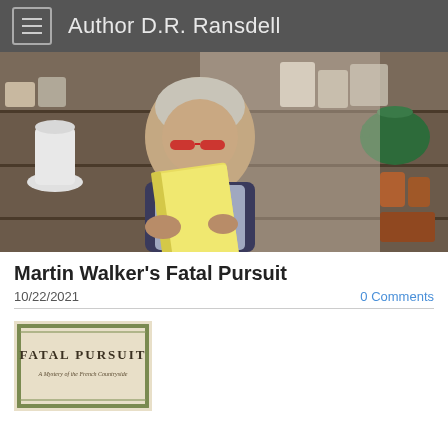Author D.R. Ransdell
[Figure (photo): Woman with grey hair and red glasses reading a yellow-covered book in a shop with pottery and ceramics on wooden shelves in the background.]
Martin Walker's Fatal Pursuit
10/22/2021
0 Comments
[Figure (photo): Book cover of 'Fatal Pursuit' showing tan/cream background with decorative border. Text reads: FATAL PURSUIT and subtitle 'A Mystery of the French Countryside'.]